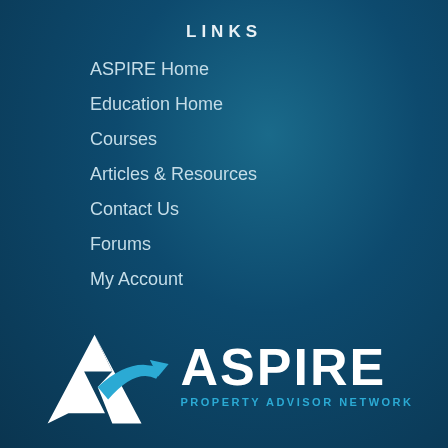LINKS
ASPIRE Home
Education Home
Courses
Articles & Resources
Contact Us
Forums
My Account
[Figure (logo): Aspire Property Advisor Network logo with stylized A/arrow icon in white and blue, with text ASPIRE and PROPERTY ADVISOR NETWORK]